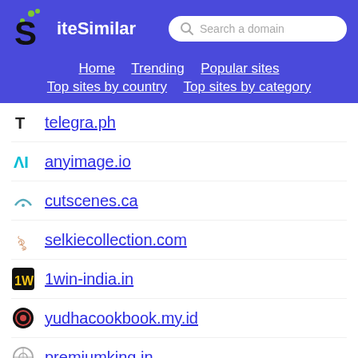SiteSimilar — Search a domain
Home  Trending  Popular sites  Top sites by country  Top sites by category
telegra.ph
anyimage.io
cutscenes.ca
selkiecollection.com
1win-india.in
yudhacookbook.my.id
premiumking.in
smergers.com
hellolanding.com